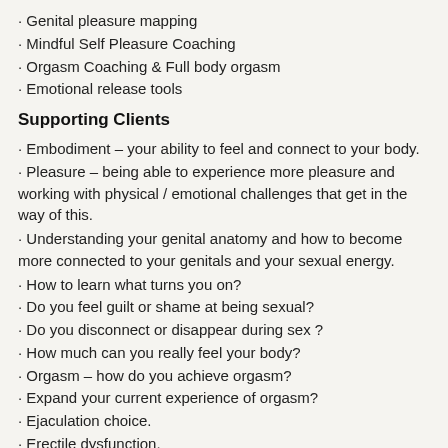· Genital pleasure mapping
· Mindful Self Pleasure Coaching
· Orgasm Coaching & Full body orgasm
· Emotional release tools
Supporting Clients
· Embodiment – your ability to feel and connect to your body.
· Pleasure – being able to experience more pleasure and working with physical / emotional challenges that get in the way of this.
· Understanding your genital anatomy and how to become more connected to your genitals and your sexual energy.
· How to learn what turns you on?
· Do you feel guilt or shame at being sexual?
· Do you disconnect or disappear during sex ?
· How much can you really feel your body?
· Orgasm – how do you achieve orgasm?
· Expand your current experience of orgasm?
· Ejaculation choice.
· Erectile dysfunction.
· Consent & boundaries.
· Anal tension and anal pleasure.
· Changing patterns of using fantasy or pornography for sexual